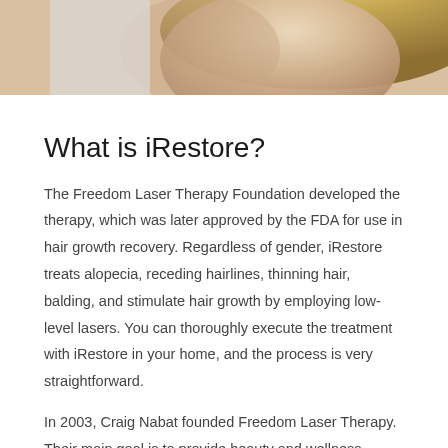[Figure (photo): Partial photo of a woman with blonde hair, cropped at the top of the page]
What is iRestore?
The Freedom Laser Therapy Foundation developed the therapy, which was later approved by the FDA for use in hair growth recovery. Regardless of gender, iRestore treats alopecia, receding hairlines, thinning hair, balding, and stimulate hair growth by employing low-level lasers. You can thoroughly execute the treatment with iRestore in your home, and the process is very straightforward.
In 2003, Craig Nabat founded Freedom Laser Therapy. Their main goal is to provide beauty and wellness solutions that are safe and effective. They provide smoking cessation therapies more pleasantly with low-level laser technologies. This helps eliminate any unnecessary and painful side effects of nicotine withdrawal.